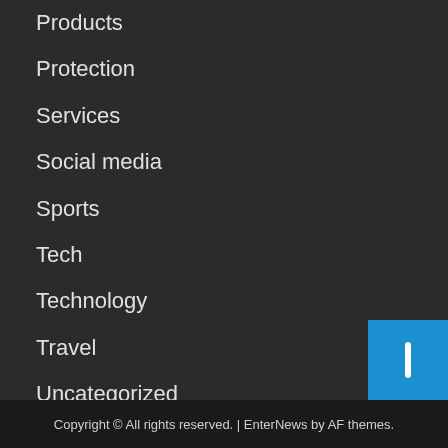Products
Protection
Services
Social media
Sports
Tech
Technology
Travel
Uncategorized
Web games
Copyright © All rights reserved. | EnterNews by AF themes.